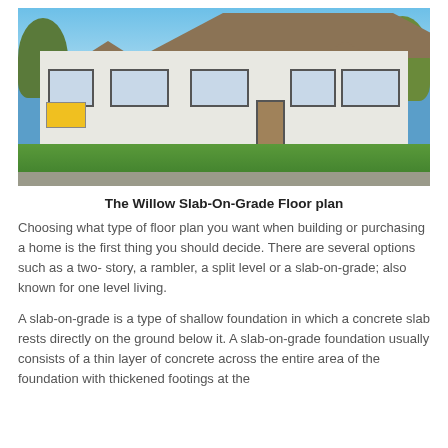[Figure (photo): Exterior photo of The Willow Slab-On-Grade home, a single-story white house with brown roof, multiple gable peaks, large windows, and a yellow moving trailer in the driveway. Green lawn in foreground, trees on both sides, clear blue sky.]
The Willow Slab-On-Grade Floor plan
Choosing what type of floor plan you want when building or purchasing a home is the first thing you should decide. There are several options such as a two- story, a rambler, a split level or a slab-on-grade; also known for one level living.
A slab-on-grade is a type of shallow foundation in which a concrete slab rests directly on the ground below it. A slab-on-grade foundation usually consists of a thin layer of concrete across the entire area of the foundation with thickened footings at the edges and under load-bearing walls in the middle of the slab for...